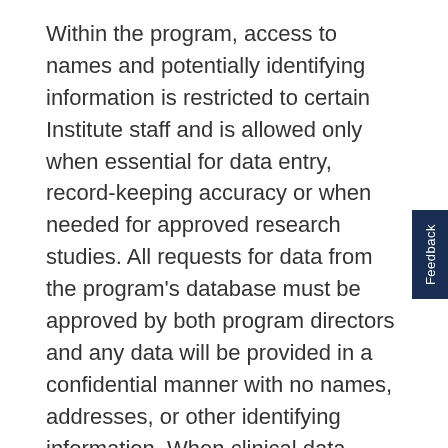Within the program, access to names and potentially identifying information is restricted to certain Institute staff and is allowed only when essential for data entry, record-keeping accuracy or when needed for approved research studies. All requests for data from the program's database must be approved by both program directors and any data will be provided in a confidential manner with no names, addresses, or other identifying information. When clinical data, tissue samples, or biological materials are supplied to a non-affiliated researcher, there will be no identifiers that can be directly related to any individual participant associated with the data, samples or materials.

Representatives from agencies (such as the Food